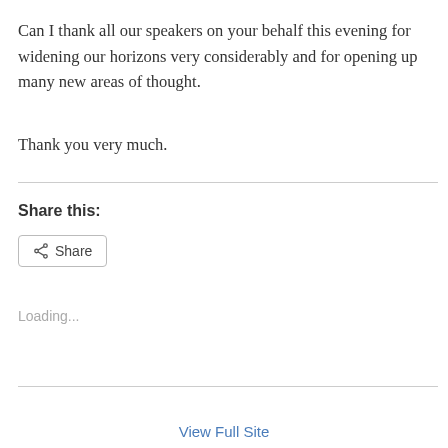Can I thank all our speakers on your behalf this evening for widening our horizons very considerably and for opening up many new areas of thought.
Thank you very much.
Share this:
[Figure (other): Share button with share icon]
Loading...
View Full Site